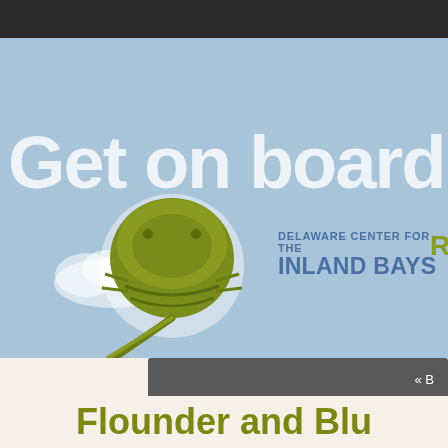[Figure (illustration): Delaware Center for the Inland Bays banner with horseshoe crab logo and text 'Get on board']
Flounder and Blu